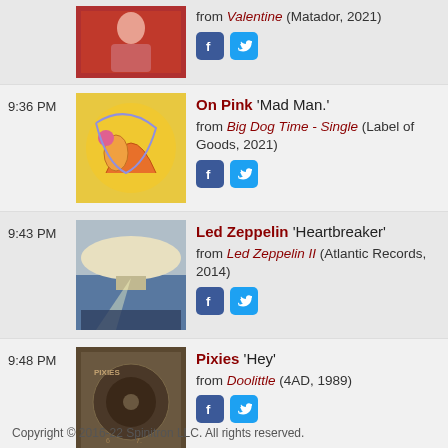from Valentine (Matador, 2021)
9:36 PM — On Pink 'Mad Man.' from Big Dog Time - Single (Label of Goods, 2021)
9:43 PM — Led Zeppelin 'Heartbreaker' from Led Zeppelin II (Atlantic Records, 2014)
9:48 PM — Pixies 'Hey' from Doolittle (4AD, 1989)
Copyright © 2016-22 Spinitron LLC. All rights reserved.